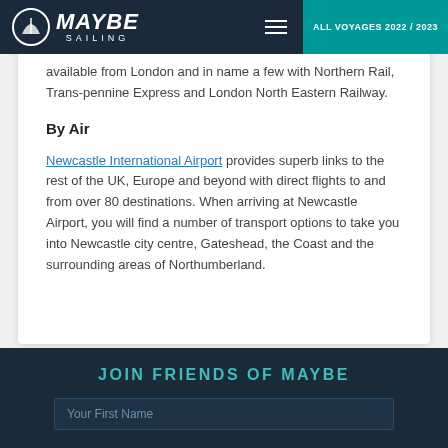MAYBE SAILING — ALL VOYAGES 2022 / 2023
available from London and in name a few with Northern Rail, Trans-pennine Express and London North Eastern Railway.
By Air
Newcastle International Airport provides superb links to the rest of the UK, Europe and beyond with direct flights to and from over 80 destinations. When arriving at Newcastle Airport, you will find a number of transport options to take you into Newcastle city centre, Gateshead, the Coast and the surrounding areas of Northumberland.
JOIN FRIENDS OF MAYBE
Your First Name